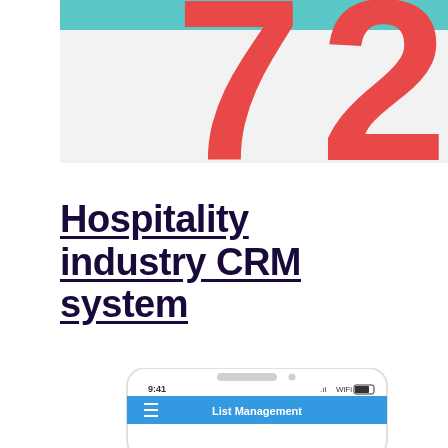[Figure (illustration): Partial view of large red stylized number '72' or similar graphic on a light gray background with a teal/cyan accent strip at the top]
Hospitality industry CRM system
[Figure (screenshot): Partial phone mockup showing a mobile app screen with blue header reading 'List Management', time 9:41, and a hamburger menu icon]